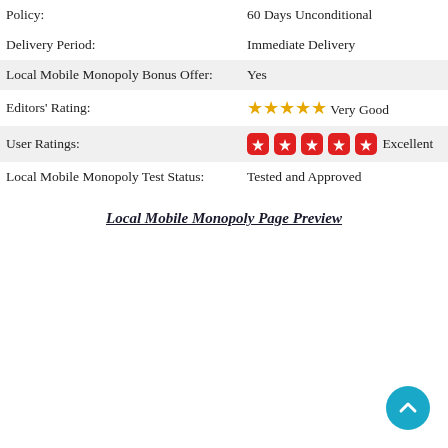| Field | Value |
| --- | --- |
| Policy: | 60 Days Unconditional |
| Delivery Period: | Immediate Delivery |
| Local Mobile Monopoly Bonus Offer: | Yes |
| Editors' Rating: | ★★★★★ Very Good |
| User Ratings: | ★★★★★ Excellent |
| Local Mobile Monopoly Test Status: | Tested and Approved |
Local Mobile Monopoly Page Preview